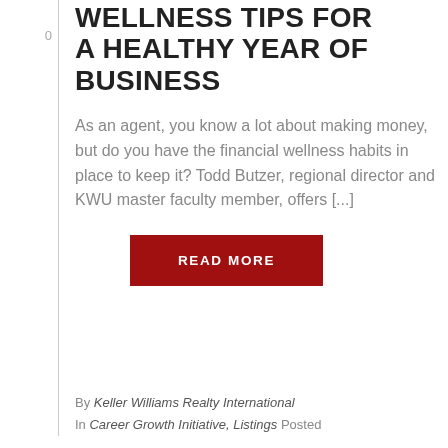0
WELLNESS TIPS FOR A HEALTHY YEAR OF BUSINESS
As an agent, you know a lot about making money, but do you have the financial wellness habits in place to keep it? Todd Butzer, regional director and KWU master faculty member, offers [...]
READ MORE
By Keller Williams Realty International
In Career Growth Initiative, Listings Posted